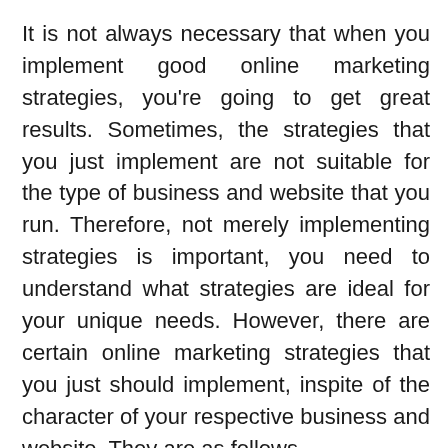It is not always necessary that when you implement good online marketing strategies, you're going to get great results. Sometimes, the strategies that you just implement are not suitable for the type of business and website that you run. Therefore, not merely implementing strategies is important, you need to understand what strategies are ideal for your unique needs. However, there are certain online marketing strategies that you just should implement, inspite of the character of your respective business and website. They are as follows.